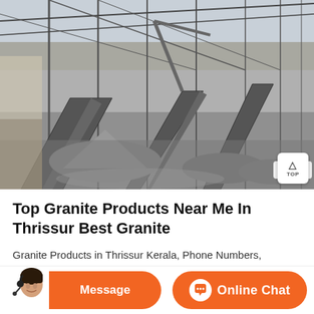[Figure (photo): Industrial granite quarry or processing facility interior showing conveyor belts, steel roof trusses, and piles of crushed stone/granite material. Outdoor view visible through open sides.]
Top Granite Products Near Me In Thrissur Best Granite
Granite Products in Thrissur Kerala, Phone Numbers, Addresses, Best Deals, Reviews Ratings. Visit quickerala.com for Granite
[Figure (illustration): Bottom bar with orange background: left side shows customer service agent photo, center has 'Message' button, right has chat icon with 'Online Chat' button]